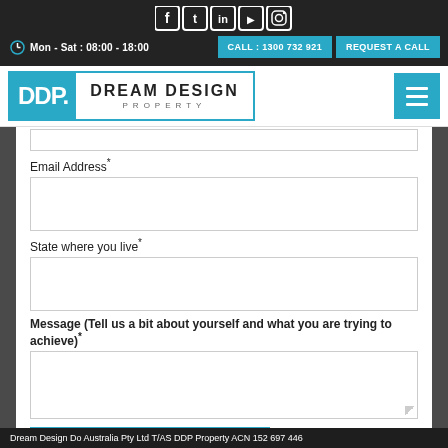[Figure (screenshot): Social media icons row: Facebook, Twitter, LinkedIn, YouTube, Instagram — white outlined squares on dark background]
Mon - Sat : 08:00 - 18:00
CALL : 1300 732 921
REQUEST A CALL
[Figure (logo): DDP Dream Design Property logo — DDP in white on cyan square, DREAM DESIGN text with PROPERTY below]
Email Address*
State where you live*
Message (Tell us a bit about yourself and what you are trying to achieve)*
Submit Form
Dream Design Do Australia Pty Ltd T/AS DDP Property ACN 152 697 446